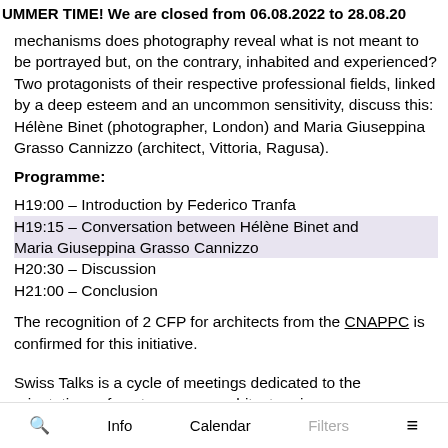UMMER TIME! We are closed from 06.08.2022 to 28.08.20
mechanisms does photography reveal what is not meant to be portrayed but, on the contrary, inhabited and experienced? Two protagonists of their respective professional fields, linked by a deep esteem and an uncommon sensitivity, discuss this: Hélène Binet (photographer, London) and Maria Giuseppina Grasso Cannizzo (architect, Vittoria, Ragusa).
Programme:
H19:00 – Introduction by Federico Tranfa
H19:15 – Conversation between Hélène Binet and Maria Giuseppina Grasso Cannizzo
H20:30 – Discussion
H21:00 – Conclusion
The recognition of 2 CFP for architects from the CNAPPC is confirmed for this initiative.
Swiss Talks is a cycle of meetings dedicated to the orientations of contemporary architecture in
Q   Info   Calendar   Filters   ≡